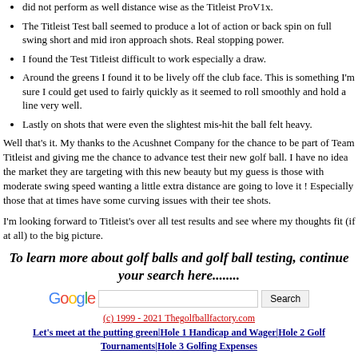did not perform as well distance wise as the Titleist ProV1x.
The Titleist Test ball seemed to produce a lot of action or back spin on full swing short and mid iron approach shots. Real stopping power.
I found the Test Titleist difficult to work especially a draw.
Around the greens I found it to be lively off the club face. This is something I'm sure I could get used to fairly quickly as it seemed to roll smoothly and hold a line very well.
Lastly on shots that were even the slightest mis-hit the ball felt heavy.
Well that's it. My thanks to the Acushnet Company for the chance to be part of Team Titleist and giving me the chance to advance test their new golf ball. I have no idea the market they are targeting with this new beauty but my guess is those with moderate swing speed wanting a little extra distance are going to love it ! Especially those that at times have some curving issues with their tee shots.
I'm looking forward to Titleist's over all test results and see where my thoughts fit (if at all) to the big picture.
To learn more about golf balls and golf ball testing, continue your search here........
[Figure (other): Google search bar with Search button]
(c) 1999 - 2021 Thegolfballfactory.com
Let's meet at the putting green|Hole 1 Handicap and Wager|Hole 2 Golf Tournaments|Hole 3 Golfing Expenses